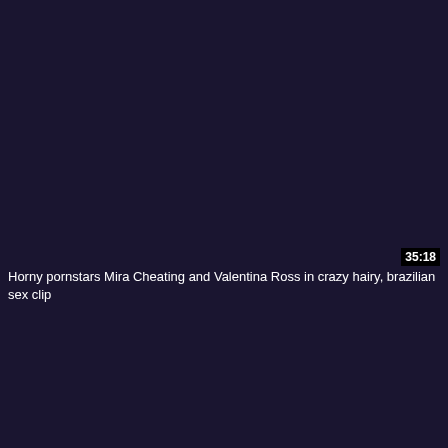[Figure (screenshot): Dark navy/purple video thumbnail background]
35:18
Horny pornstars Mira Cheating and Valentina Ross in crazy hairy, brazilian sex clip